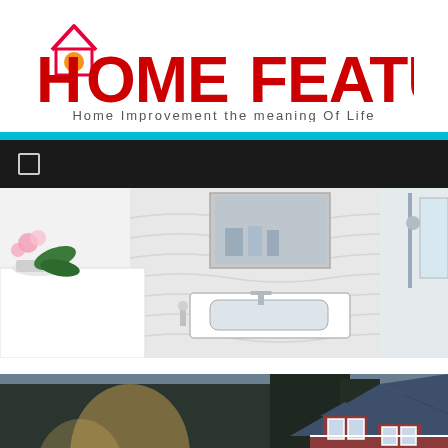[Figure (logo): Home Feature logo with house icon; tagline: Home Improvement the meaning Of Life]
[Figure (photo): White modern bathroom with sink, wall-mounted cabinet, mirror, and shower]
[Figure (photo): Exterior photo of a red house with blue-grey roof and dormers surrounded by tall trees, sunlight visible]